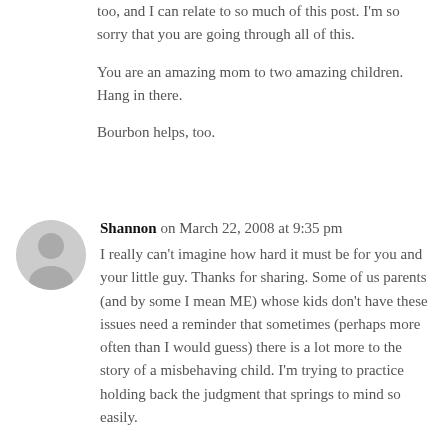too, and I can relate to so much of this post. I'm so sorry that you are going through all of this.
You are an amazing mom to two amazing children. Hang in there.
Bourbon helps, too.
Shannon on March 22, 2008 at 9:35 pm
I really can't imagine how hard it must be for you and your little guy. Thanks for sharing. Some of us parents (and by some I mean ME) whose kids don't have these issues need a reminder that sometimes (perhaps more often than I would guess) there is a lot more to the story of a misbehaving child. I'm trying to practice holding back the judgment that springs to mind so easily.